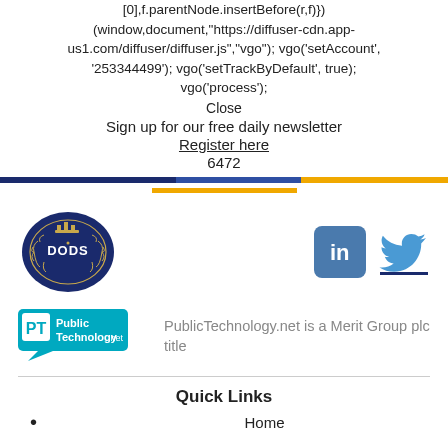[0],f.parentNode.insertBefore(r,f)}) (window,document,"https://diffuser-cdn.app-us1.com/diffuser/diffuser.js","vgo"); vgo('setAccount', '253344499'); vgo('setTrackByDefault', true); vgo('process');
Close
Sign up for our free daily newsletter
Register here
6472
[Figure (other): Decorative colored bar divider with dark blue, medium blue, and gold segments, plus a shorter gold bar below]
[Figure (logo): DODS logo - oval dark blue emblem with laurel wreath and crown]
[Figure (logo): LinkedIn icon - blue rounded square with white 'in' text]
[Figure (logo): Twitter bird icon in blue]
[Figure (logo): PublicTechnology.net logo - teal speech bubble with PT text]
PublicTechnology.net is a Merit Group plc title
Quick Links
Home